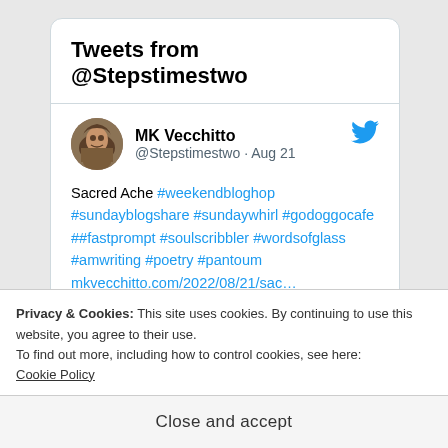Tweets from @Stepstimestwo
MK Vecchitto
@Stepstimestwo · Aug 21
Sacred Ache #weekendbloghop #sundayblogshare #sundaywhirl #godoggocafe ##fastprompt #soulscribbler #wordsofglass #amwriting #poetry #pantoum mkvecchitto.com/2022/08/21/sac…
Privacy & Cookies: This site uses cookies. By continuing to use this website, you agree to their use.
To find out more, including how to control cookies, see here:
Cookie Policy
Close and accept